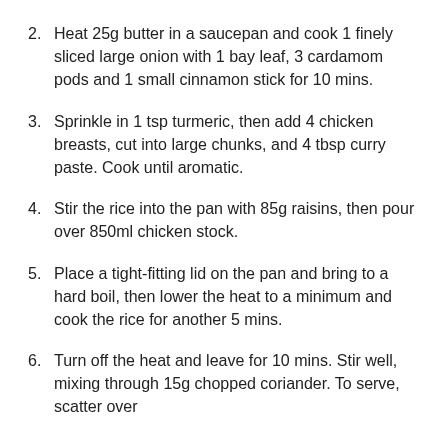2. Heat 25g butter in a saucepan and cook 1 finely sliced large onion with 1 bay leaf, 3 cardamom pods and 1 small cinnamon stick for 10 mins.
3. Sprinkle in 1 tsp turmeric, then add 4 chicken breasts, cut into large chunks, and 4 tbsp curry paste. Cook until aromatic.
4. Stir the rice into the pan with 85g raisins, then pour over 850ml chicken stock.
5. Place a tight-fitting lid on the pan and bring to a hard boil, then lower the heat to a minimum and cook the rice for another 5 mins.
6. Turn off the heat and leave for 10 mins. Stir well, mixing through 15g chopped coriander. To serve, scatter over